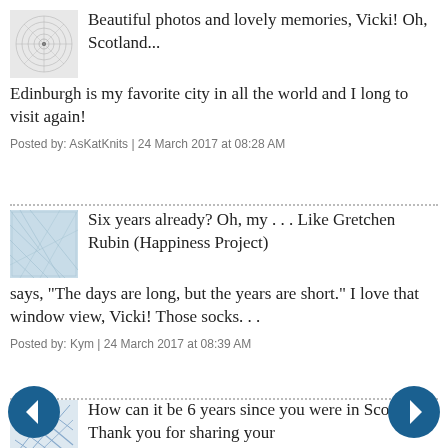Beautiful photos and lovely memories, Vicki! Oh, Scotland... Edinburgh is my favorite city in all the world and I long to visit again!
Posted by: AsKatKnits | 24 March 2017 at 08:28 AM
Six years already? Oh, my . . . Like Gretchen Rubin (Happiness Project) says, "The days are long, but the years are short." I love that window view, Vicki! Those socks. . .
Posted by: Kym | 24 March 2017 at 08:39 AM
How can it be 6 years since you were in Scotland!? Thank you for sharing your